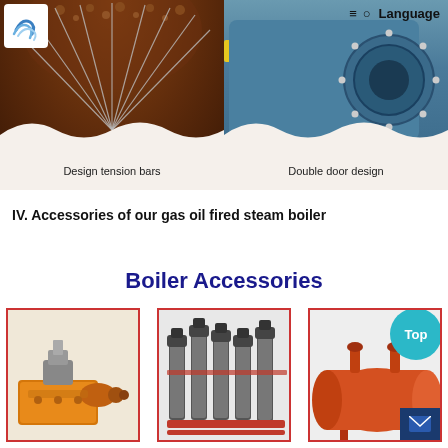[Figure (photo): Interior view of boiler showing design tension bars radiating from center, rust-colored metal surface]
[Figure (photo): Blue cylindrical gas oil fired steam boiler front view showing double door design with circular door and bolts]
Design tension bars
Double door design
IV. Accessories of our gas oil fired steam boiler
Boiler Accessories
[Figure (photo): Orange burner accessory for gas oil fired steam boiler]
[Figure (photo): Multiple vertical pump units with piping connections]
[Figure (photo): Orange cylindrical pressure vessel / separator tank]